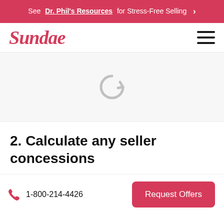See Dr. Phil's Resources for Stress-Free Selling >
Sundae
[Figure (illustration): A circular loading/refresh spinner icon in light gray, indicating content is loading.]
2. Calculate any seller concessions
1-800-214-4426
Request Offers